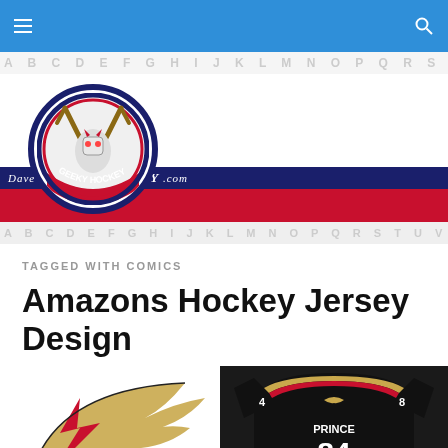Dave's Geeky Hockey .com — navigation bar
[Figure (logo): Dave's Geeky Hockey logo: circular emblem with hockey goalie mask character holding sticks, red/navy border, text 'GEEKY HOCKEY' around bottom arc, site banner with 'Dave's ... .com' in italic white text]
TAGGED WITH COMICS
Amazons Hockey Jersey Design
[Figure (photo): Left: gold and red winged logo/crest for Amazons hockey team on white background. Right: black hockey jersey with gold and red accents, number 84, name PRINCE, number 4 and 8 on shoulders, small winged emblem on chest.]